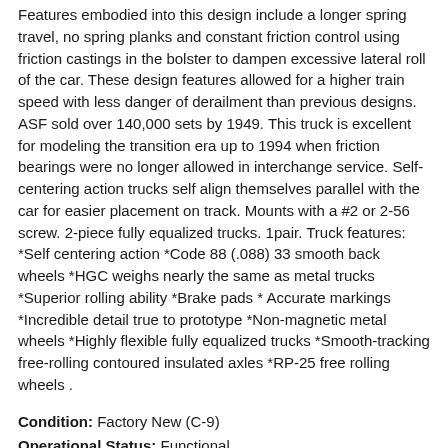Features embodied into this design include a longer spring travel, no spring planks and constant friction control using friction castings in the bolster to dampen excessive lateral roll of the car. These design features allowed for a higher train speed with less danger of derailment than previous designs. ASF sold over 140,000 sets by 1949. This truck is excellent for modeling the transition era up to 1994 when friction bearings were no longer allowed in interchange service. Self-centering action trucks self align themselves parallel with the car for easier placement on track. Mounts with a #2 or 2-56 screw. 2-piece fully equalized trucks. 1pair. Truck features: *Self centering action *Code 88 (.088) 33 smooth back wheels *HGC weighs nearly the same as metal trucks *Superior rolling ability *Brake pads * Accurate markings *Incredible detail true to prototype *Non-magnetic metal wheels *Highly flexible fully equalized trucks *Smooth-tracking free-rolling contoured insulated axles *RP-25 free rolling wheels .
Condition: Factory New (C-9)
Operational Status: Functional
Original Box: Yes (P-9)
Manufacturer: Kadee
Model Number: 1562